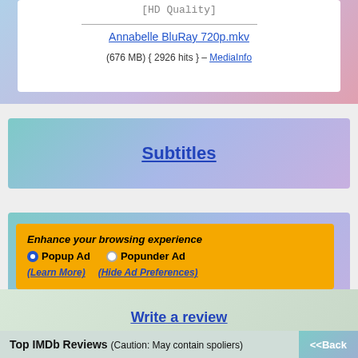[HD Quality]
Annabelle BluRay 720p.mkv
(676 MB) { 2926 hits } - MediaInfo
Subtitles
Enhance your browsing experience
Popup Ad
Popunder Ad
(Learn More)
(Hide Ad Preferences)
Write a review
Top IMDb Reviews (Caution: May contain spoliers)
<<Back